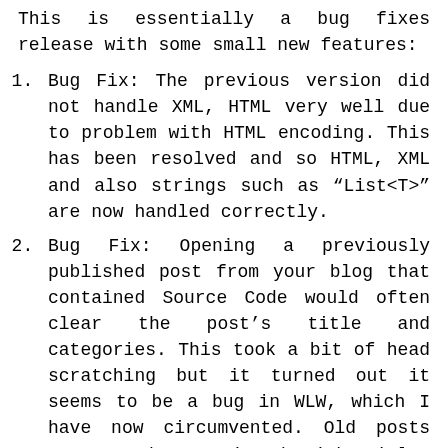This is essentially a bug fixes release with some small new features:
Bug Fix: The previous version did not handle XML, HTML very well due to problem with HTML encoding. This has been resolved and so HTML, XML and also strings such as “List<T>” are now handled correctly.
Bug Fix: Opening a previously published post from your blog that contained Source Code would often clear the post’s title and categories. This took a bit of head scratching but it turned out it seems to be a bug in WLW, which I have now circumvented. Old posts can now be retrieved with titles intact.